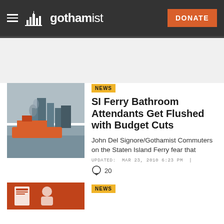gothamist — DONATE
[Figure (photo): Ferry on water with city skyline in background and smoke, gray sky]
NEWS
SI Ferry Bathroom Attendants Get Flushed with Budget Cuts
John Del Signore/Gothamist Commuters on the Staten Island Ferry fear that
UPDATED: MAR 23, 2010 6:23 PM |
20
NEWS